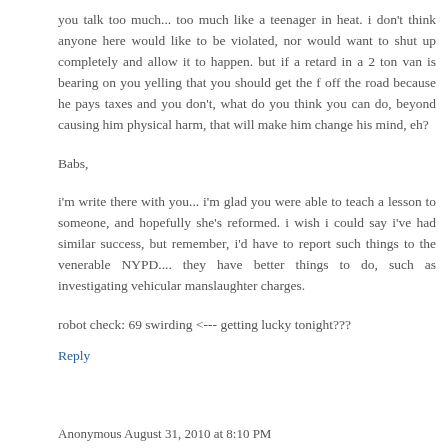you talk too much... too much like a teenager in heat. i don't think anyone here would like to be violated, nor would want to shut up completely and allow it to happen. but if a retard in a 2 ton van is bearing on you yelling that you should get the f off the road because he pays taxes and you don't, what do you think you can do, beyond causing him physical harm, that will make him change his mind, eh?
Babs,
i'm write there with you... i'm glad you were able to teach a lesson to someone, and hopefully she's reformed. i wish i could say i've had similar success, but remember, i'd have to report such things to the venerable NYPD.... they have better things to do, such as investigating vehicular manslaughter charges.
robot check: 69 swirding <--- getting lucky tonight???
Reply
Anonymous August 31, 2010 at 8:10 PM